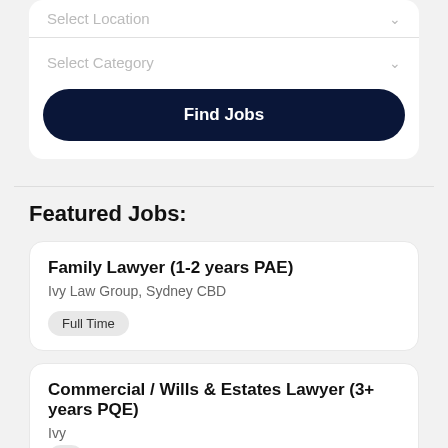Select Location
Select Category
Find Jobs
Featured Jobs:
Family Lawyer (1-2 years PAE)
Ivy Law Group, Sydney CBD
Full Time
Commercial / Wills & Estates Lawyer (3+ years PQE)
Ivy
Legal Home Loans* — Buy with a 10% deposit and get waived Lender's Mortgage Insurance